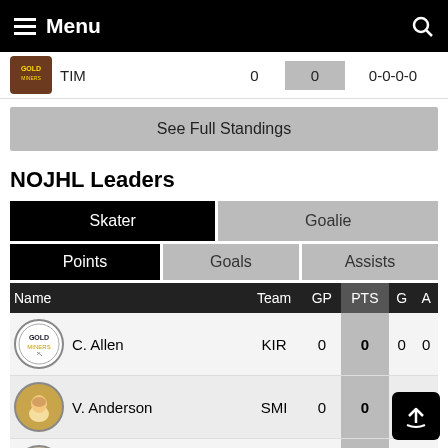Menu
| Name | Team | GP | PTS | G | A |
| --- | --- | --- | --- | --- | --- |
| C. Allen | KIR | 0 | 0 | 0 | 0 |
| V. Anderson | SMI | 0 | 0 | 0 | 0 |
| A. Antoine | ELL | 0 | 0 | 0 |  |